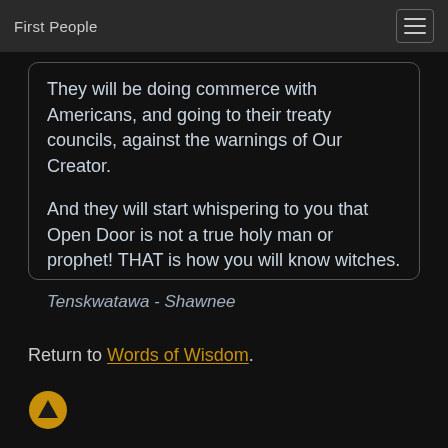First People
They will be doing commerce with Americans, and going to their treaty councils, against the warnings of Our Creator.

And they will start whispering to you that Open Door is not a true holy man or prophet! THAT is how you will know witches.

Tenskwatawa - Shawnee
Return to Words of Wisdom.